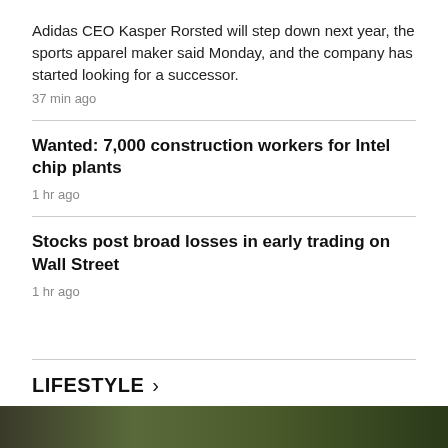Adidas CEO Kasper Rorsted will step down next year, the sports apparel maker said Monday, and the company has started looking for a successor.
37 min ago
Wanted: 7,000 construction workers for Intel chip plants
1 hr ago
Stocks post broad losses in early trading on Wall Street
1 hr ago
LIFESTYLE ›
[Figure (photo): Partial photo at bottom of page, appears to be an outdoor or nature scene]